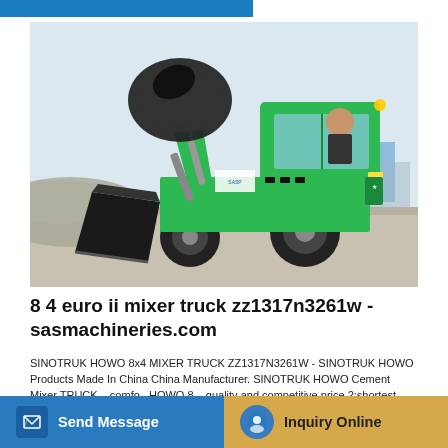[Figure (photo): Green SINOTRUK HOWO cement mixer truck (self-loading type) with black mixing drum raised, large front bucket/shovel, operator visible in cab, photographed outdoors on a construction site with grey gravel ground.]
8 4 euro ii mixer truck zz1317n3261w - sasmachineries.com
SINOTRUK HOWO 8x4 MIXER TRUCK ZZ1317N3261W - SINOTRUK HOWO Products Made In China China Manufacturer. SINOTRUK HOWO Cement Mixer TRUCK ...comfo...HOWO 8... quality and competitive price 2:shortest delivery time 3:heavy